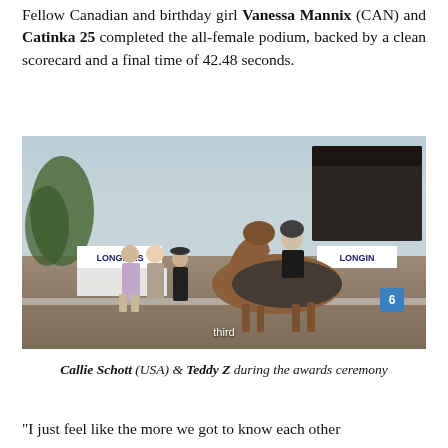Fellow Canadian and birthday girl Vanessa Mannix (CAN) and Catinka 25 completed the all-female podium, backed by a clean scorecard and a final time of 42.48 seconds.
[Figure (photo): Award ceremony photo showing a horse and rider (Callie Schott on Teddy Z) with three people standing in front, at an equestrian venue with Longines banners visible. The rider wears a black jacket and helmet on a chestnut horse covered by a dark blanket. Caption overlay reads 'third'.]
Callie Schott (USA) & Teddy Z during the awards ceremony
"I just feel like the more we got to know each other